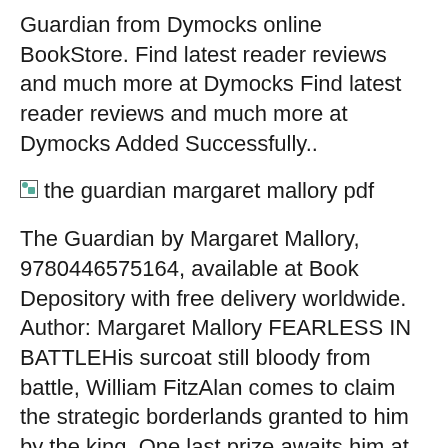Guardian from Dymocks online BookStore. Find latest reader reviews and much more at Dymocks Find latest reader reviews and much more at Dymocks Added Successfully..
[Figure (other): Broken image placeholder labeled 'the guardian margaret mallory pdf']
The Guardian by Margaret Mallory, 9780446575164, available at Book Depository with free delivery worldwide. Author: Margaret Mallory FEARLESS IN BATTLEHis surcoat still bloody from battle, William FitzAlan comes to claim the strategic borderlands granted to him by the king. One last prize awaits him at the castle gates: the lovely Lady